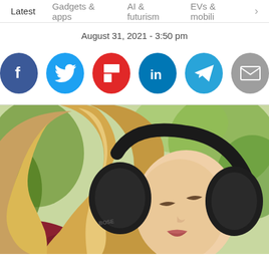Latest  Gadgets & apps  AI & futurism  EVs & mobili >
August 31, 2021 - 3:50 pm
[Figure (infographic): Social share buttons row: Facebook (blue), Twitter (light blue), Flipboard (red), LinkedIn (dark blue), Telegram (teal), Email (gray)]
[Figure (photo): Woman with flowing blonde curly hair wearing black Bose over-ear noise-cancelling headphones, eyes closed, outdoors with green blurred background]